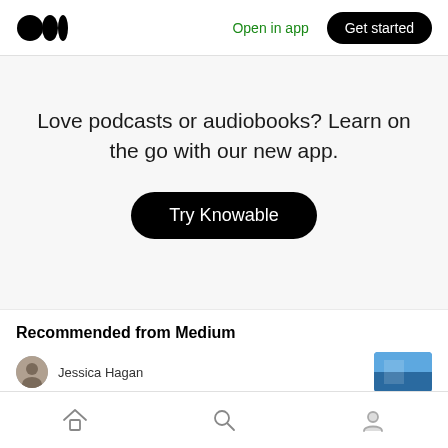[Figure (logo): Medium logo — two overlapping circles (black)]
Open in app
Get started
Love podcasts or audiobooks? Learn on the go with our new app.
Try Knowable
Recommended from Medium
Jessica Hagan
[Figure (photo): Thumbnail image of article — blue toned cover]
[Figure (illustration): Bottom navigation bar with home, search, and profile icons]